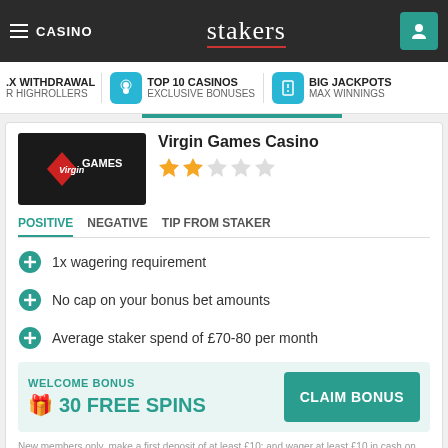CASINO — stakers
X WITHDRAWAL FOR HIGHROLLERS | TOP 10 CASINOS EXCLUSIVE BONUSES | BIG JACKPOTS MAX WINNINGS
Virgin Games Casino
POSITIVE | NEGATIVE | TIP FROM STAKER
1x wagering requirement
No cap on your bonus bet amounts
Average staker spend of £70-80 per month
WELCOME BONUS
🎁 30 FREE SPINS
CLAIM BONUS
New members only, make a first deposit of at least £10; and wager at least £10 in cash on any game(s). You have 30 days from when you opt-in. T&C Apply
Starspins Casino